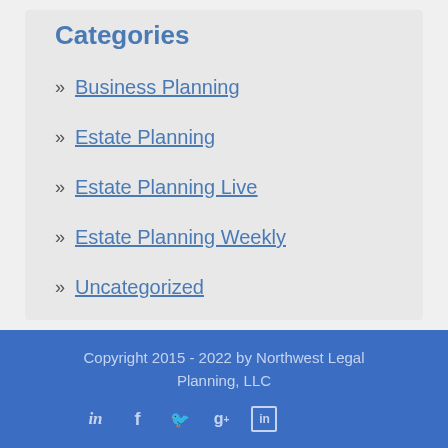Categories
» Business Planning
» Estate Planning
» Estate Planning Live
» Estate Planning Weekly
» Uncategorized
Copyright 2015 - 2022 by Northwest Legal Planning, LLC